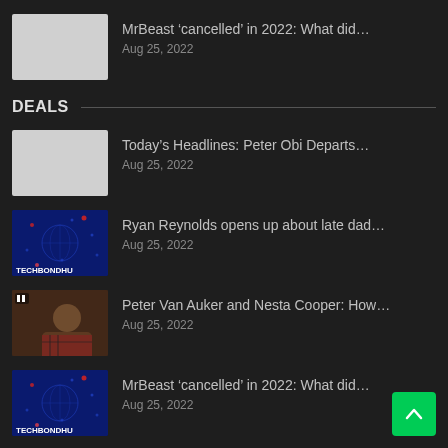MrBeast ‘cancelled’ in 2022: What did… | Aug 25, 2022
DEALS
Today’s Headlines: Peter Obi Departs… | Aug 25, 2022
Ryan Reynolds opens up about late dad… | Aug 25, 2022
Peter Van Auker and Nesta Cooper: How… | Aug 25, 2022
MrBeast ‘cancelled’ in 2022: What did… | Aug 25, 2022